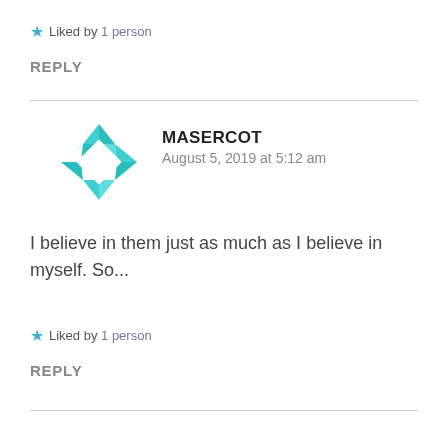Liked by 1 person
REPLY
[Figure (logo): Teal/cyan geometric diamond-like avatar logo for MASERCOT]
MASERCOT
August 5, 2019 at 5:12 am
I believe in them just as much as I believe in myself. So...
Liked by 1 person
REPLY